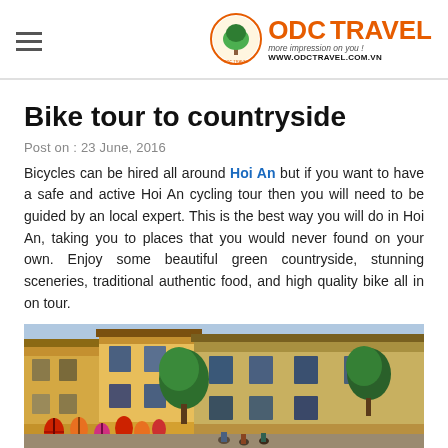ODC TRAVEL — www.odctravel.com.vn
Bike tour to countryside
Post on : 23 June, 2016
Bicycles can be hired all around Hoi An but if you want to have a safe and active Hoi An cycling tour then you will need to be guided by an local expert. This is the best way you will do in Hoi An, taking you to places that you would never found on your own. Enjoy some beautiful green countryside, stunning sceneries, traditional authentic food, and high quality bike all in on tour.
[Figure (photo): Street scene in Hoi An old town showing traditional yellow buildings with hanging red, orange, and pink lanterns, trees with green foliage, and people on a street.]